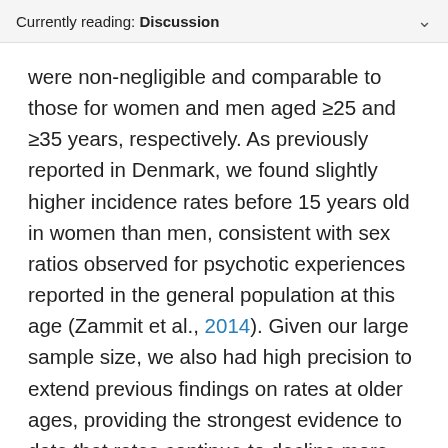Currently reading: Discussion
were non-negligible and comparable to those for women and men aged ≥25 and ≥35 years, respectively. As previously reported in Denmark, we found slightly higher incidence rates before 15 years old in women than men, consistent with sex ratios observed for psychotic experiences reported in the general population at this age (Zammit et al., 2014). Given our large sample size, we also had high precision to extend previous findings on rates at older ages, providing the strongest evidence to date that rates continue to decline more rapidly for men than women after 45 years old, such that rates for men were almost half that of women after 60 years old. A recent study from Sweden on the incidence of NAPD occurring after 60 years old suggests that incidence rates may begin to increase after this age (Stafford, Howard, & Kirkbride,